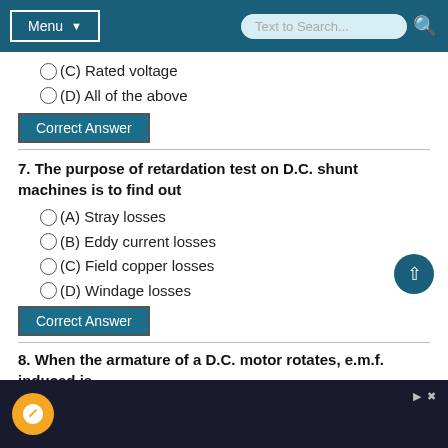Menu | Text to Search...
(C) Rated voltage
(D) All of the above
Correct Answer
7. The purpose of retardation test on D.C. shunt machines is to find out
(A) Stray losses
(B) Eddy current losses
(C) Field copper losses
(D) Windage losses
Correct Answer
8. When the armature of a D.C. motor rotates, e.m.f. induced is
(A) Self-induced e.m.f.